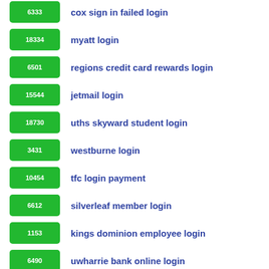6333 cox sign in failed login
18334 myatt login
6501 regions credit card rewards login
15544 jetmail login
18730 uths skyward student login
3431 westburne login
10454 tfc login payment
6612 silverleaf member login
1153 kings dominion employee login
6490 uwharrie bank online login
2571 meet the new facebook login page